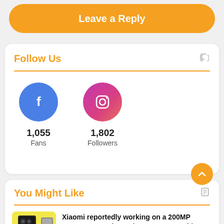Leave a Reply
Follow Us
1,055
Fans
1,802
Followers
You Might Like
Xiaomi reportedly working on a 200MP camera smartphone that may come with ISOCELL HP2...